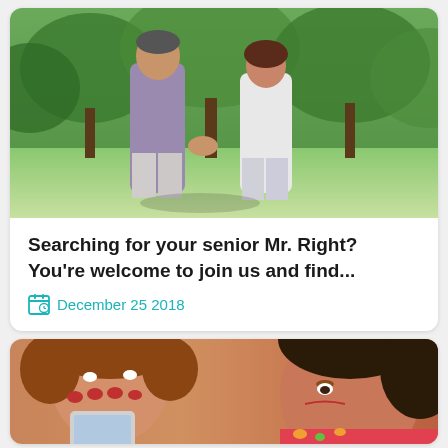[Figure (photo): An older couple holding hands and walking together in a park with green trees in the background. The man wears a purple/grey shirt and the woman wears a white sleeveless top.]
Searching for your senior Mr. Right? You're welcome to join us and find...
December 25 2018
[Figure (photo): Two women laughing and looking at a smartphone, holding hands over their mouths in amusement. Close-up shot.]